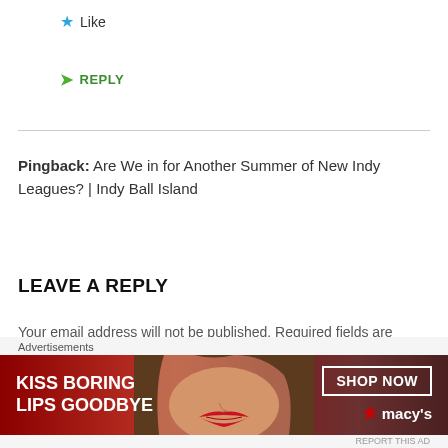★ Like
➤ REPLY
Pingback: Are We in for Another Summer of New Indy Leagues? | Indy Ball Island
LEAVE A REPLY
Your email address will not be published. Required fields are marked *
Comment *
[Figure (screenshot): Advertisement banner: KISS BORING LIPS GOODBYE with SHOP NOW button and Macy's logo]